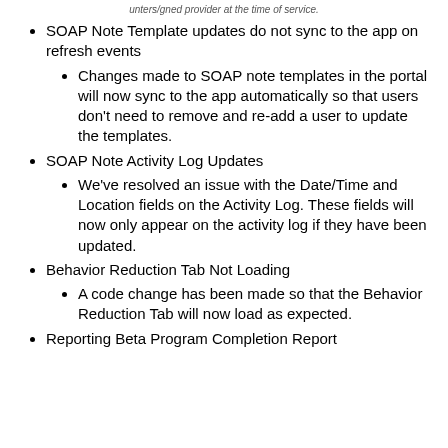unters/gned provider at the time of service.
SOAP Note Template updates do not sync to the app on refresh events
Changes made to SOAP note templates in the portal will now sync to the app automatically so that users don't need to remove and re-add a user to update the templates.
SOAP Note Activity Log Updates
We've resolved an issue with the Date/Time and Location fields on the Activity Log. These fields will now only appear on the activity log if they have been updated.
Behavior Reduction Tab Not Loading
A code change has been made so that the Behavior Reduction Tab will now load as expected.
Reporting Beta Program Completion Report